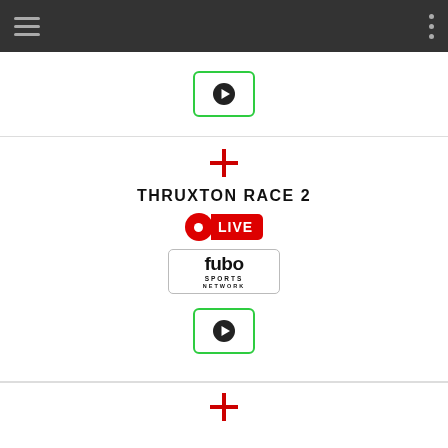[Figure (screenshot): Navigation bar with hamburger menu icon on left and three-dot menu on right, dark gray background]
[Figure (other): Play button with green border in top partial card]
[Figure (other): England flag cross icon, THRUXTON RACE 2 title, LIVE badge, Fubo Sports Network logo, and play button]
THRUXTON RACE 2
[Figure (other): England flag cross icon, THRUXTON RACE 3 title, LIVE badge, Fubo Sports Network logo, and play button (partial)]
THRUXTON RACE 3